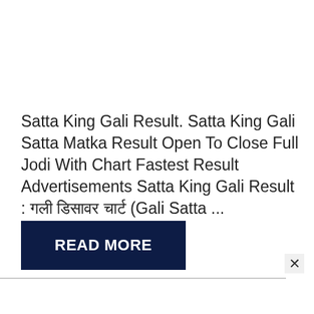Satta King Gali Result. Satta King Gali Satta Matka Result Open To Close Full Jodi With Chart Fastest Result Advertisements Satta King Gali Result : गली डिसावर चार्ट (Gali Satta ...
READ MORE